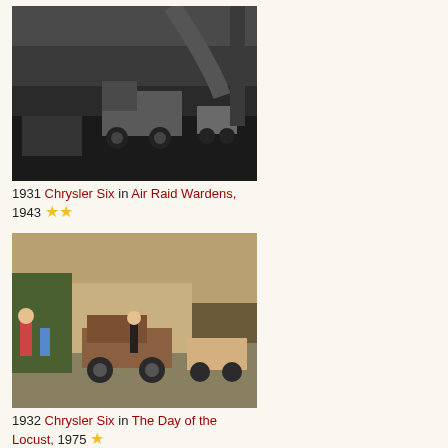[Figure (photo): Black and white film still showing vintage vehicles including a truck on a road, 1931 Chrysler Six in Air Raid Wardens (1943)]
1931 Chrysler Six in Air Raid Wardens, 1943 ★★
[Figure (photo): Color film still showing a street scene with vintage 1932 Chrysler Six automobile and people, The Day of the Locust (1975)]
1932 Chrysler Six in The Day of the Locust, 1975 ★
[Figure (photo): Color film still showing a dark red 1932 Chrysler Six automobile, En brazos de la mujer madura (1997)]
1932 Chrysler Six in En brazos de la mujer madura, 1997 ★